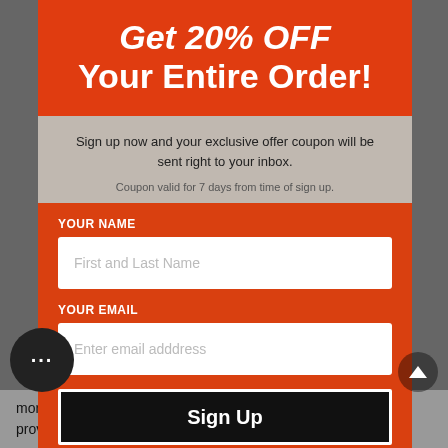Get 20% OFF Your Entire Order!
Sign up now and your exclusive offer coupon will be sent right to your inbox.
Coupon valid for 7 days from time of sign up.
YOUR NAME
First and Last Name
YOUR EMAIL
Enter email adddress
Sign Up
more suitable because they have less friction with the ground, providing better speed and control. For